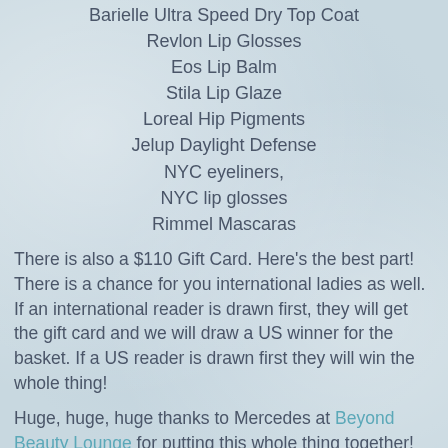Barielle Ultra Speed Dry Top Coat
Revlon Lip Glosses
Eos Lip Balm
Stila Lip Glaze
Loreal Hip Pigments
Jelup Daylight Defense
NYC eyeliners,
NYC lip glosses
Rimmel Mascaras
There is also a $110 Gift Card. Here's the best part! There is a chance for you international ladies as well. If an international reader is drawn first, they will get the gift card and we will draw a US winner for the basket. If a US reader is drawn first they will win the whole thing!
Huge, huge, huge thanks to Mercedes at Beyond Beauty Lounge for putting this whole thing together! The giveaway ends on New Year's Eve! Good luck ladies!
a Rafflecopter giveaway